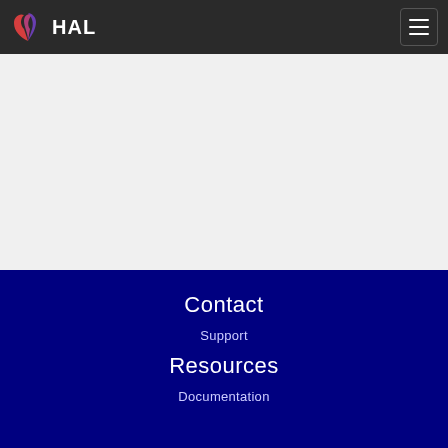HAL
[Figure (other): White content area with left and bottom border on light gray background]
Contact
Support
Resources
Documentation